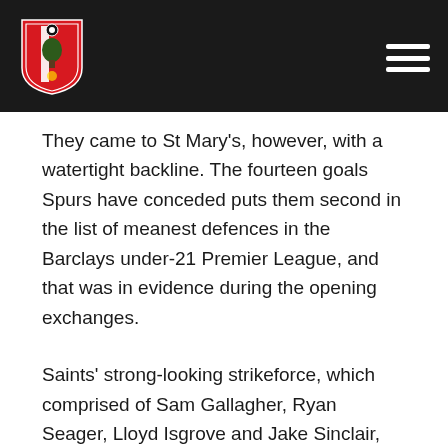[Figure (logo): Southampton FC crest logo on dark header bar with hamburger menu icon]
They came to St Mary's, however, with a watertight backline. The fourteen goals Spurs have conceded puts them second in the list of meanest defences in the Barclays under-21 Premier League, and that was in evidence during the opening exchanges.
Saints' strong-looking strikeforce, which comprised of Sam Gallagher, Ryan Seager, Lloyd Isgrove and Jake Sinclair, applied plenty of pressure, though Spurs' commanding defensive duo of Bongani Khumalo – an established South African international – and Cameron Carter-Vickers weathered much of the early storm.
The first real chance fell to Seager, who forced Luke